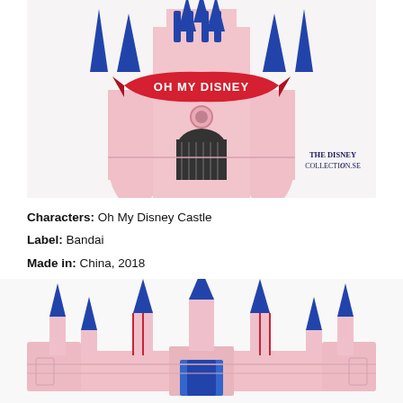[Figure (photo): Close-up photo of a pink Disney castle toy with blue spires and a red 'OH MY DISNEY' banner ribbon across the front gate. White background. The Disney Collection.se watermark visible.]
Characters: Oh My Disney Castle
Label: Bandai
Made in: China, 2018
[Figure (photo): Bottom portion of the same pink Disney castle toy showing blue spired towers and pink base structure against white background.]